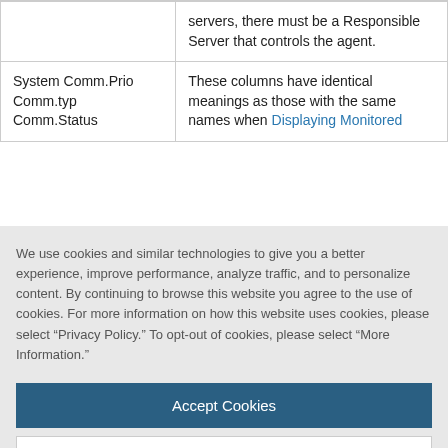|  | servers, there must be a Responsible Server that controls the agent. |
| System Comm.Prio
Comm.typ
Comm.Status | These columns have identical meanings as those with the same names when Displaying Monitored |
We use cookies and similar technologies to give you a better experience, improve performance, analyze traffic, and to personalize content. By continuing to browse this website you agree to the use of cookies. For more information on how this website uses cookies, please select “Privacy Policy.” To opt-out of cookies, please select “More Information.”
Accept Cookies
More Information
Privacy Policy | Powered by: TrustArc